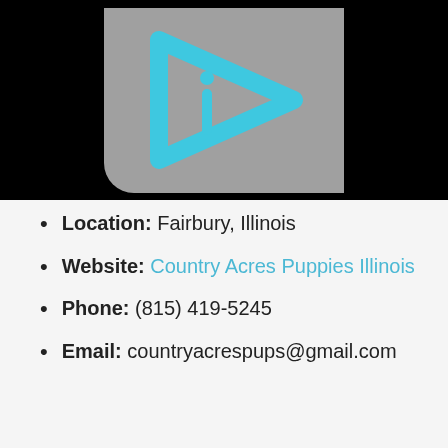[Figure (logo): Gray square logo with a cyan/turquoise play-button triangle outline containing a lowercase letter 'i', on a black banner background]
Location: Fairbury, Illinois
Website: Country Acres Puppies Illinois
Phone: (815) 419-5245
Email: countryacrespups@gmail.com